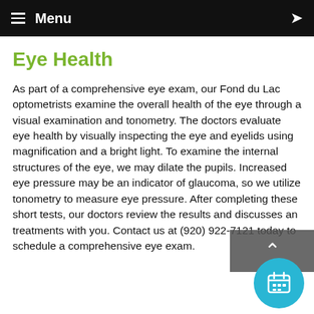≡ Menu
Eye Health
As part of a comprehensive eye exam, our Fond du Lac optometrists examine the overall health of the eye through a visual examination and tonometry. The doctors evaluate eye health by visually inspecting the eye and eyelids using magnification and a bright light. To examine the internal structures of the eye, we may dilate the pupils. Increased eye pressure may be an indicator of glaucoma, so we utilize tonometry to measure eye pressure. After completing these short tests, our doctors review the results and discusses an treatments with you. Contact us at (920) 922-7121 today to schedule a comprehensive eye exam.